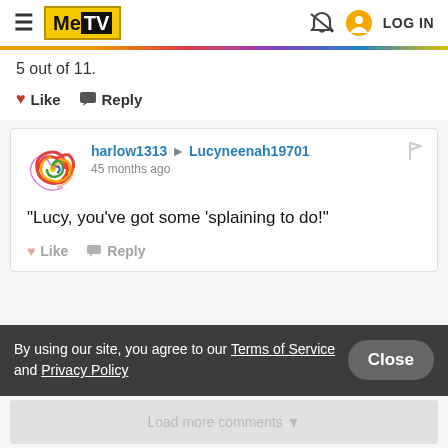MeTV — LOG IN
5 out of 11.
Like  Reply
harlow1313 → Lucyneenah19701
45 months ago
"Lucy, you've got some 'splaining to do!"
Like  Reply
By using our site, you agree to our Terms of Service and Privacy Policy
Load more comments ▼